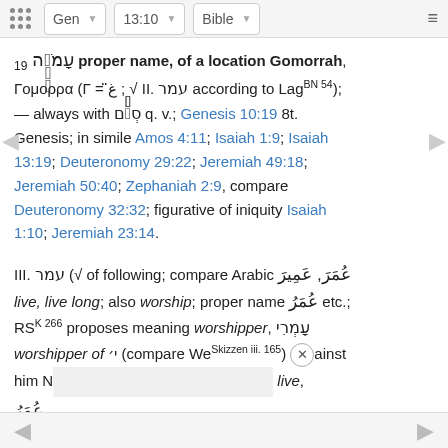Gen  13:10  Bible
19 עָמֹרָה proper name, of a location Gomorrah, Γομορρα (Γ = غ ; √ II. עמר according to Lag BN 54); — always with סְדֹם q. v.; Genesis 10:19 8t. Genesis; in simile Amos 4:11; Isaiah 1:9; Isaiah 13:19; Deuteronomy 29:22; Jeremiah 49:18; Jeremiah 50:40; Zephaniah 2:9, compare Deuteronomy 32:32; figurative of iniquity Isaiah 1:10; Jeremiah 23:14.
III. עמר (√ of following; compare Arabic عُمَرَ, عَمِيرَ live, live long; also worship; proper name عُمَرُ etc.; RS K 266 proposes meaning worshipper, עָמְרִי worshipper of י׳ (compare We Skizzen iii. 165) against him N live, عُمَرُ